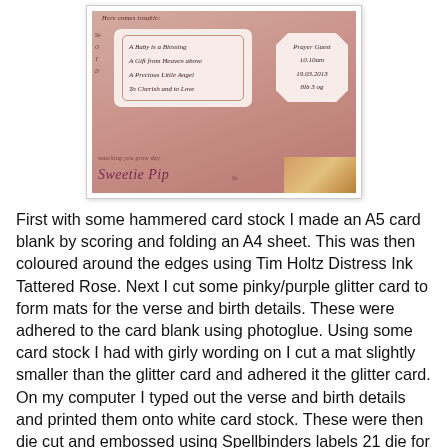[Figure (photo): Photo of a handmade baby card with pink/rose coloring. Shows decorative labels with cursive text: 'A Baby is a Blessing', 'A Gift from Heaven above', 'A Precious Little Angel', 'To Cherish and to Love', plus a birth details tag. Bottom shows 'Sweetie Pip' text and a gold glitter strip. Top reads 'Here comes trouble:']
First with some hammered card stock I made an A5 card blank by scoring and folding an A4 sheet.  This was then coloured around the edges using Tim Holtz Distress Ink Tattered Rose.  Next I cut some pinky/purple glitter card to form mats for the verse and birth details. These were adhered to the card blank using photoglue.  Using some card stock I had with girly wording on I cut a mat slightly smaller than the glitter card and adhered it the glitter card.  On my computer I typed out the verse and birth details and printed them onto white card stock.  These were then die cut and embossed using Spellbinders labels 21 die for the birth details and Spellbinders Large Labels die  for the verse.   Whilst they were still in the dies I inked the edges with Tim